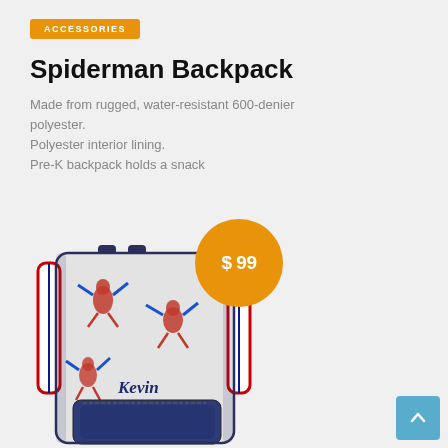ACCESSORIES
Spiderman Backpack
Made from rugged, water-resistant 600-denier polyester.
Polyester interior lining.
Pre-K backpack holds a snack
[Figure (photo): Spiderman-themed backpack with red/blue/white design, personalized with name 'Kevin'. An orange circular price badge showing '$ 99' overlaps the top right of the backpack. A teal/blue scroll-to-top button is in the lower right corner.]